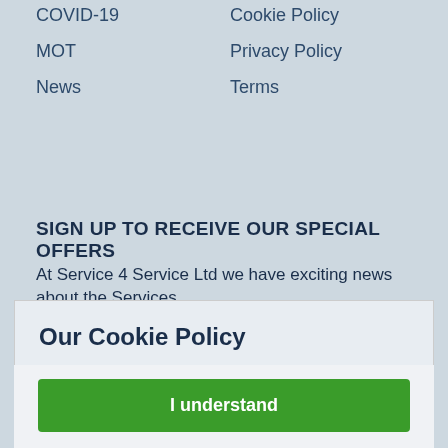COVID-19
Cookie Policy
MOT
Privacy Policy
News
Terms
SIGN UP TO RECEIVE OUR SPECIAL OFFERS
At Service 4 Service Ltd we have exciting news about the Services
Our Cookie Policy
By continuing to use this website you agree to our minimal use of Cookies to help us provide you with the best experience and anonymously collect data which we use to improve our service to you. For more information on the cookies that we use, click here.
I understand